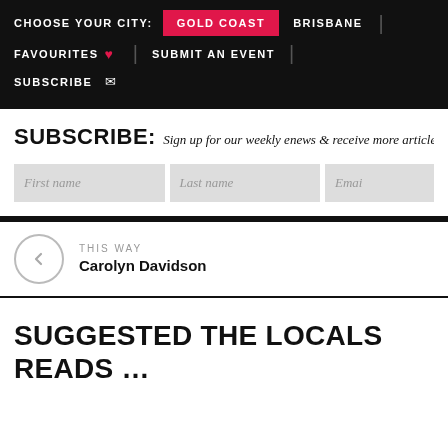CHOOSE YOUR CITY:  GOLD COAST  BRISBANE | FAVOURITES ♥  |  SUBMIT AN EVENT  |  SUBSCRIBE ✉
SUBSCRIBE: Sign up for our weekly enews & receive more articles like this:
First name | Last name | Email
THIS WAY
Carolyn Davidson
SUGGESTED THE LOCALS READS …